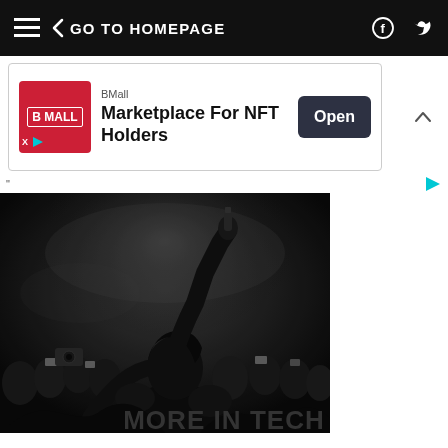GO TO HOMEPAGE
[Figure (screenshot): Advertisement banner: BMall - Marketplace For NFT Holders with Open button]
[Figure (photo): Black and white photo of a crowd with a person raising their arm/fist in the air, people holding phones]
MORE IN TECH